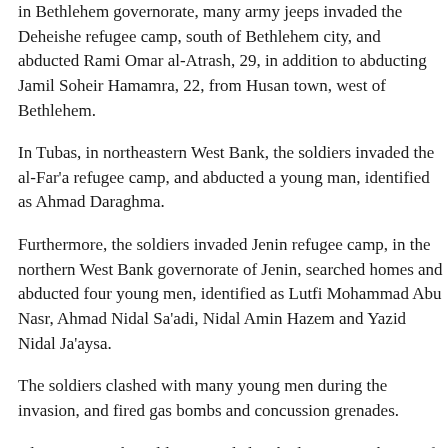in Bethlehem governorate, many army jeeps invaded the Deheishe refugee camp, south of Bethlehem city, and abducted Rami Omar al-Atrash, 29, in addition to abducting Jamil Soheir Hamamra, 22, from Husan town, west of Bethlehem.
In Tubas, in northeastern West Bank, the soldiers invaded the al-Far'a refugee camp, and abducted a young man, identified as Ahmad Daraghma.
Furthermore, the soldiers invaded Jenin refugee camp, in the northern West Bank governorate of Jenin, searched homes and abducted four young men, identified as Lutfi Mohammad Abu Nasr, Ahmad Nidal Sa'adi, Nidal Amin Hazem and Yazid Nidal Ja'aysa.
The soldiers clashed with many young men during the invasion, and fired gas bombs and concussion grenades.
Also in Jenin, the soldiers invaded Ya'bad town, southwest of the city, and photographed the home of Ahmad Ghaleb Abu Bakr, who was released from Israeli detention less than two days ago, in addition to the homes of his relatives Ghazi and Munir Khaled Abu Bakr.